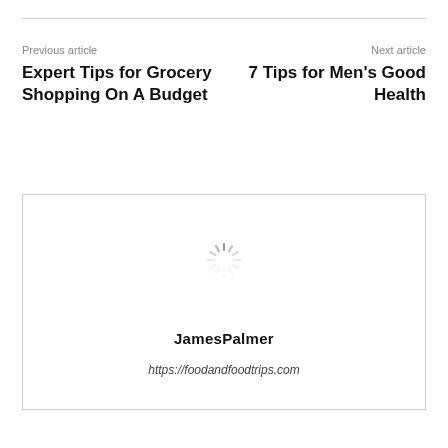Previous article
Next article
Expert Tips for Grocery Shopping On A Budget
7 Tips for Men's Good Health
[Figure (other): Author card with a loading spinner in the upper portion, author name 'JamesPalmer' in bold, and URL 'https://foodandfoodtrips.com' in italics below.]
JamesPalmer
https://foodandfoodtrips.com